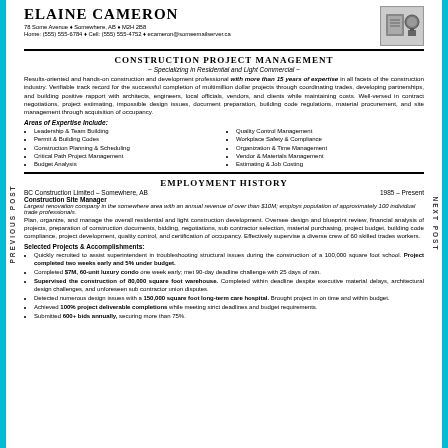Elaine Cameron
78 Some Avenue ♦ Somewhere, AB ♦ M2H 2B8
Home: (555) 555-6784 ♦ Cell: (555) 555-4752 ♦ ecameron@someemailserver.ca
Construction Project Management
~ Specializing in Residential and Light Commercial ~
Results-oriented and hands-on construction and development professional with more than 15 years of expertise in all facets of the construction industry. Verifiable track record for the successful completion of multimillion dollar projects through coordinating trades, developing partnerships, and building positive rapport with architects, engineers, local officials, vendors, and clients while maintaining costs. Well-versed in contract negotiations, project estimating, impossible design issues, document preparation, building code regulations, material procurement, and site management through acquisition of occupancy.
Areas of Expertise Include:
Leadership & Team Building
Permit & Building Codes
Construction Planning & Scheduling
Critical Path Project Management
Budget Analysis
Quality Control Management
Workplace Safety & Compliance
Organization & Time Management
Vendor & Materials Management
Estimating & Job Costing
Employment History
BC Construction Limited – Somewhere, AB   1985 – Present
Construction Site Manager
Largest renovation company in the somewhere area with an annual revenue of over than $10M; employs population of approximately 100 individual trade professionals.
Plan, organize, and manage the overall residential and light construction development. Oversee design and blueprint review, financial analysis of projects, preparation of construction documents, bidding, negotiations, sub contractor selection, material purchasing, project budget, building code compliance, project development, quality control, and certification of occupancy. Effectively supervise a diverse crew of 60 skilled trades workers.
Selected Projects & Accomplishments:
Quickly recruited to assist superintendent in troubleshooting structural issues during the construction of a 100,000 square foot school. Project completed two weeks early and 5% under budget.
Completed $7M, 60-unit luxury condo one week early; met 90-day deadline challenge with 25 days of rain.
Supervised the construction of 80,000 square foot warehouse. Completed within deadline despite extensive material delays, architectural design challenges, and unforeseen sub contractor union disputes.
Detected numerous design issues with a 150,000 square foot long-term care hospital. Brought project in on time and within budget.
Achieved 100% project deliverable completions while meeting strict deadlines and budget requirements.
Submitted 600+ bids annually, securing more than 75%.